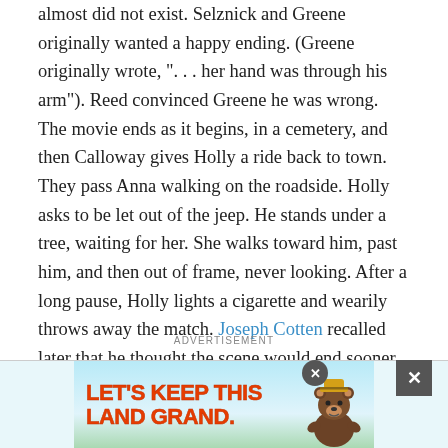almost did not exist. Selznick and Greene originally wanted a happy ending. (Greene originally wrote, ". . . her hand was through his arm"). Reed convinced Greene he was wrong. The movie ends as it begins, in a cemetery, and then Calloway gives Holly a ride back to town. They pass Anna walking on the roadside. Holly asks to be let out of the jeep. He stands under a tree, waiting for her. She walks toward him, past him, and then out of frame, never looking. After a long pause, Holly lights a cigarette and wearily throws away the match. Joseph Cotten recalled later that he thought the scene would end sooner. But Reed kept the camera running, making it an unusually long shot, and absolutely perfect.
ADVERTISEMENT
[Figure (illustration): Advertisement banner: 'LET'S KEEP THIS LAND GRAND.' with Smokey Bear illustration on a blue-green background]